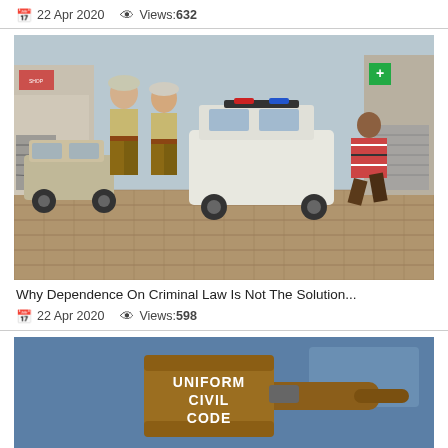📅 22 Apr 2020   👁 Views: 632
[Figure (photo): Police officers in khaki uniforms standing on a cobblestone street with a white police vehicle and a man crouching near shuttered shops, apparently during a lockdown enforcement.]
Why Dependence On Criminal Law Is Not The Solution...
📅 22 Apr 2020   👁 Views: 598
[Figure (illustration): Illustration of a brown wooden judge's gavel on a blue background with text reading 'UNIFORM CIVIL CODE' on the gavel head.]